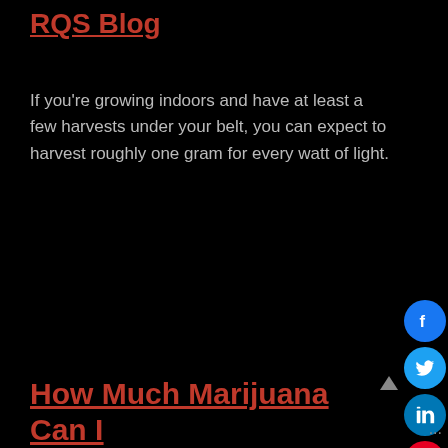RQS Blog
If you're growing indoors and have at least a few harvests under your belt, you can expect to harvest roughly one gram for every watt of light.
[Figure (photo): Dark/black image area in the middle of the page]
How Much Marijuana Can I